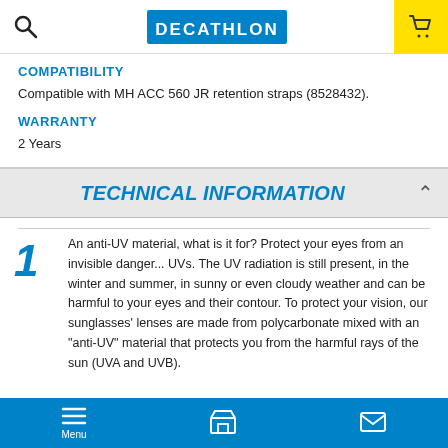Decathlon header with search, logo, and cart
COMPATIBILITY
Compatible with MH ACC 560 JR retention straps (8528432).
WARRANTY
2 Years
TECHNICAL INFORMATION
An anti-UV material, what is it for? Protect your eyes from an invisible danger... UVs. The UV radiation is still present, in the winter and summer, in sunny or even cloudy weather and can be harmful to your eyes and their contour. To protect your vision, our sunglasses' lenses are made from polycarbonate mixed with an "anti-UV" material that protects you from the harmful rays of the sun (UVA and UVB).
Menu navigation bar